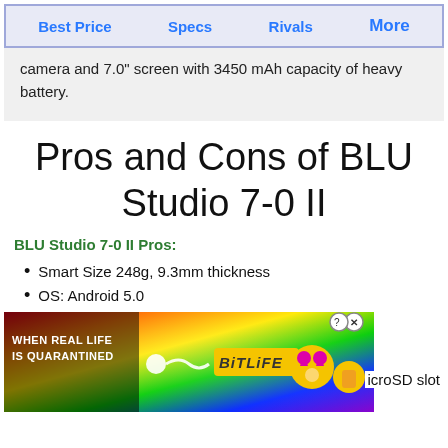Best Price   Specs   Rivals   More
camera and 7.0" screen with 3450 mAh capacity of heavy battery.
Pros and Cons of BLU Studio 7-0 II
BLU Studio 7-0 II Pros:
Smart Size 248g, 9.3mm thickness
OS: Android 5.0
[Figure (other): Advertisement banner for BitLife game: rainbow background with text 'WHEN REAL LIFE IS QUARANTINED' and BitLife logo with emoji characters. Close button icons in top right.]
icroSD slot